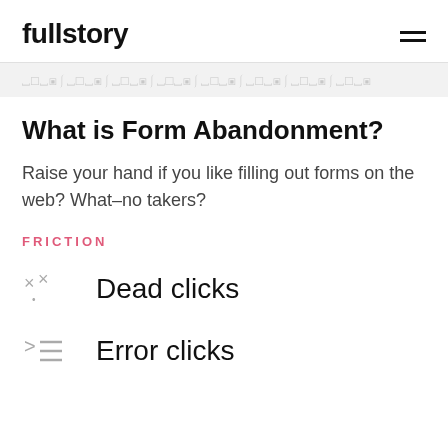fullstory
[Figure (other): Watermark strip with repeated icon/logo pattern in light gray]
What is Form Abandonment?
Raise your hand if you like filling out forms on the web? What–no takers?
FRICTION
Dead clicks
Error clicks